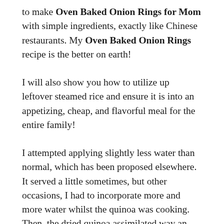to make Oven Baked Onion Rings for Mom with simple ingredients, exactly like Chinese restaurants. My Oven Baked Onion Rings recipe is the better on earth!
I will also show you how to utilize up leftover steamed rice and ensure it is into an appetizing, cheap, and flavorful meal for the entire family!
I attempted applying slightly less water than normal, which has been proposed elsewhere. It served a little sometimes, but other occasions, I had to incorporate more and more water whilst the quinoa was cooking. Then, the dried quinoa assimilated way an excessive amount of the